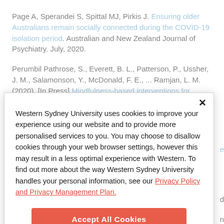Page A, Sperandei S, Spittal MJ, Pirkis J. Ensuring older Australians remain socially connected during the COVID-19 isolation period. Australian and New Zealand Journal of Psychiatry. July, 2020.
Perumbil Pathrose, S., Everett, B. L., Patterson, P., Ussher, J. M., Salamonson, Y., McDonald, F. E., ... Ramjan, L. M. (2020). [In Press] Mindfulness-based interventions for young people with cancer : an integrated literature review. Cancer Nursing.
Western Sydney University uses cookies to improve your experience using our website and to provide more personalised services to you. You may choose to disallow cookies through your web browser settings, however this may result in a less optimal experience with Western. To find out more about the way Western Sydney University handles your personal information, see our Privacy Policy and Privacy Management Plan.